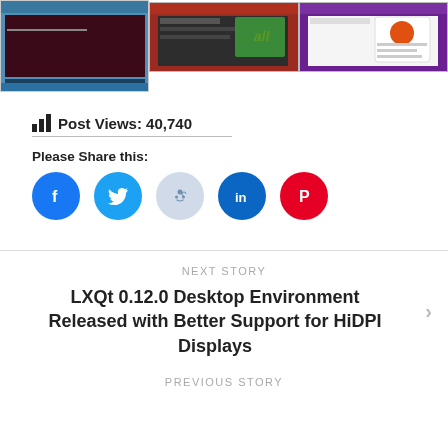[Figure (screenshot): Three Ubuntu Linux desktop screenshots side by side showing terminal windows and system information dialogs]
Post Views: 40,740
Please Share this:
[Figure (other): Social sharing buttons: Facebook, Twitter, Reddit, LinkedIn, Pinterest]
NEXT STORY
LXQt 0.12.0 Desktop Environment Released with Better Support for HiDPI Displays
PREVIOUS STORY